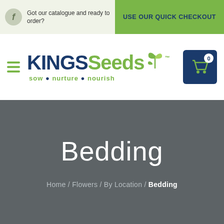Got our catalogue and ready to order? | USE OUR QUICK CHECKOUT
[Figure (logo): Kings Seeds logo with tagline sow nurture nourish, shopping cart icon with 0 items]
Bedding
Home / Flowers / By Location / Bedding